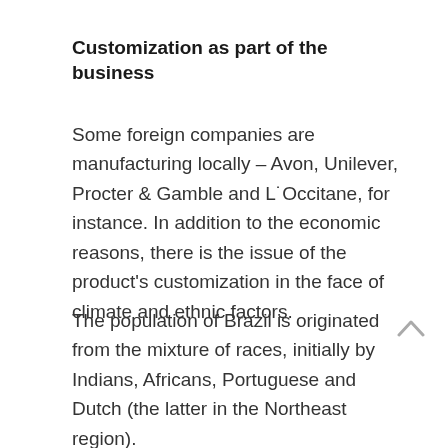Customization as part of the business
Some foreign companies are manufacturing locally – Avon, Unilever, Procter & Gamble and L'Occitane, for instance. In addition to the economic reasons, there is the issue of the product's customization in the face of climate and ethnic factors.
The population of Brazil is originated from the mixture of races, initially by Indians, Africans, Portuguese and Dutch (the latter in the Northeast region). Later in the twentieth century, this